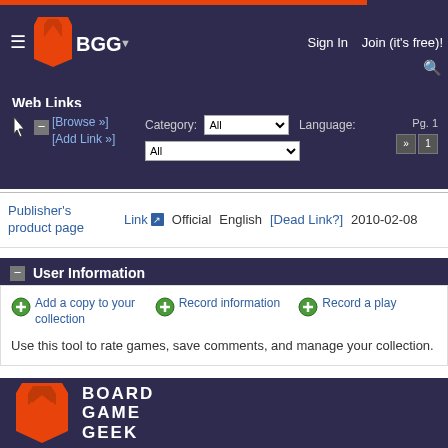BGG — Sign In  Join (it's free)!
Web Links
[Browse »] [Add Link »] Category: All  Language: All  Pg. 1
Publisher's product page  Link  Official  English  [Dead Link?]  2010-02-08
— User Information
⊕ Add a copy to your collection  ⊕ Record information  ⊕ Record a play
Use this tool to rate games, save comments, and manage your collection.
[Figure (logo): BoardGameGeek logo — orange shield/figure with BOARD GAME GEEK text in white on dark purple background]